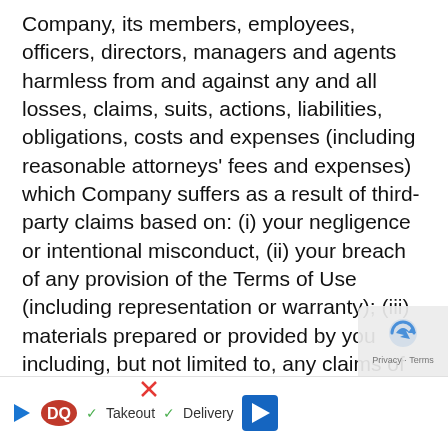Company, its members, employees, officers, directors, managers and agents harmless from and against any and all losses, claims, suits, actions, liabilities, obligations, costs and expenses (including reasonable attorneys' fees and expenses) which Company suffers as a result of third-party claims based on: (i) your negligence or intentional misconduct, (ii) your breach of any provision of the Terms of Use (including representation or warranty); (iii) materials prepared or provided by you including, but not limited to, any claims of infringement, or misappropriation of copyright, trademark, patent, trade secr[et] or o[ther intellectual property] righ[ts] ... [y]
[Figure (other): Dairy Queen advertisement banner at bottom of page with DQ logo, play button icon, red X close button, green checkmarks, 'Takeout' and 'Delivery' text, and blue navigation arrow. Partially overlaid by reCAPTCHA widget in bottom-right corner showing shield/arrow icon and 'Privacy - Terms' text.]